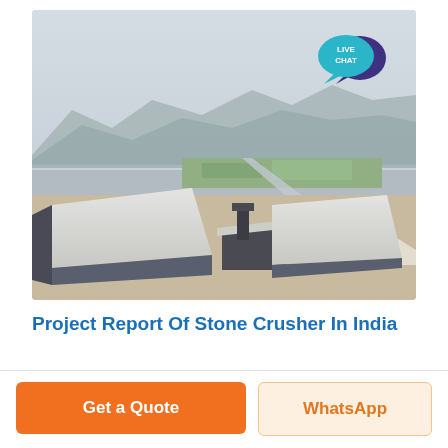[Figure (photo): Aerial view of a stone crusher / quarry facility in India, showing large industrial buildings with white rooftops, surrounding terrain, mountains in the background, a river or pond visible, and a hazy sky. A 'LIVE CHAT' speech bubble badge is in the top-right corner of the photo.]
Project Report Of Stone Crusher In India
Get a Quote
WhatsApp